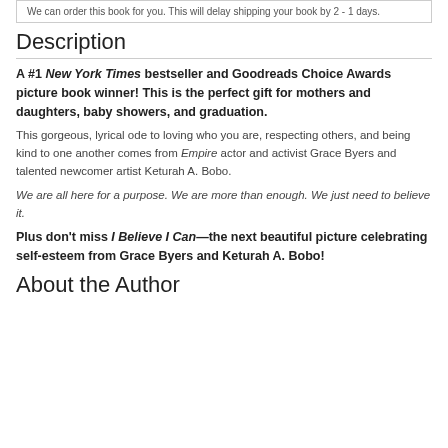We can order this book for you. This will delay shipping your book by 2 - 1 days.
Description
A #1 New York Times bestseller and Goodreads Choice Awards picture book winner! This is the perfect gift for mothers and daughters, baby showers, and graduation.
This gorgeous, lyrical ode to loving who you are, respecting others, and being kind to one another comes from Empire actor and activist Grace Byers and talented newcomer artist Keturah A. Bobo.
We are all here for a purpose. We are more than enough. We just need to believe it.
Plus don't miss I Believe I Can—the next beautiful picture celebrating self-esteem from Grace Byers and Keturah A. Bobo!
About the Author